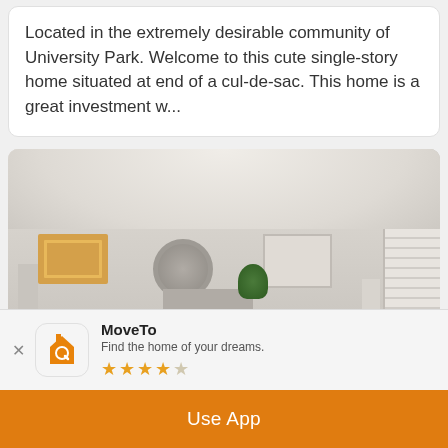Located in the extremely desirable community of University Park. Welcome to this cute single-story home situated at end of a cul-de-sac. This home is a great investment w...
[Figure (photo): Interior photo of a living room with white ceiling, beige walls, decorative artwork on walls, circular mirror, plant, fireplace, window shutters, and sofa.]
MoveTo
Find the home of your dreams.
★★★★☆
Use App